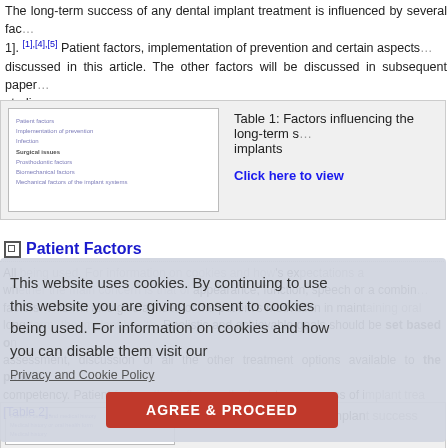The long-term success of any dental implant treatment is influenced by several factors [Table 1]. [1],[4],[5] Patient factors, implementation of prevention and certain aspects discussed in this article. The other factors will be discussed in subsequent papers studies.
[Figure (table-as-image): Thumbnail image of Table 1 listing factors influencing long-term success of dental implants]
Table 1: Factors influencing the long-term success of implants
Click here to view
Patient Factors
All successful implant treatment begins with assessing the patient's expectations and whether the main concern is that of appearance, function, speech or a combination of factors. This will also give an idea of the patient's motivation in maintaining oral hygiene long-term, the implant health. Realistic and achievable goals should be set based on assessment, discussion of all the other treatment options available to the patient and competency. Patient factors that influence the long-term success of implant treatment [Table 2].
This website uses cookies. By continuing to use this website you are giving consent to cookies being used. For information on cookies and how you can disable them visit our Privacy and Cookie Policy
AGREE & PROCEED
[Figure (table-as-image): Thumbnail image of Table 2 listing patient factors in implant success]
Table 2: Patient factors in implant success